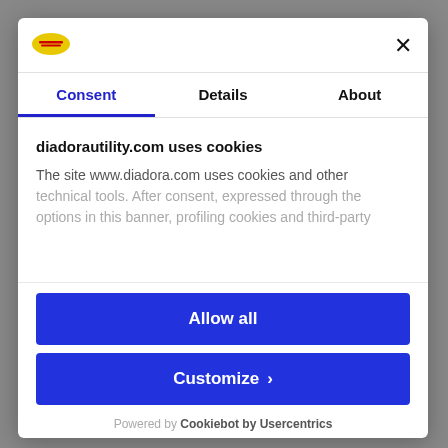[Figure (logo): Diadora yellow oval logo]
×
Consent
Details
About
diadorautility.com uses cookies
The site www.diadora.com uses cookies and other technical tools. After consent, expressed through the options in this banner, profiling cookies and third-party
Allow all
Customize ›
Powered by Cookiebot by Usercentrics